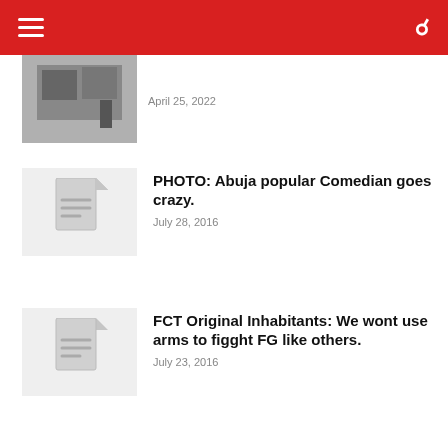[Figure (photo): Partial photo of cars and a person, partially visible at top of page]
April 25, 2022
PHOTO: Abuja popular Comedian goes crazy.
July 28, 2016
FCT Original Inhabitants: We wont use arms to figght FG like others.
July 23, 2016